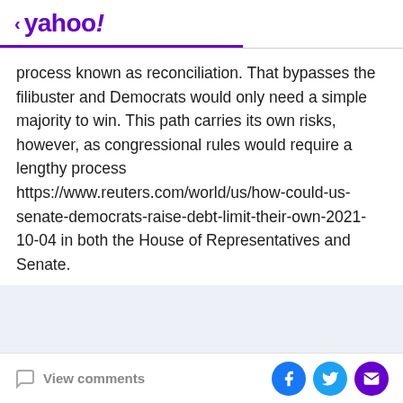< yahoo!
process known as reconciliation. That bypasses the filibuster and Democrats would only need a simple majority to win. This path carries its own risks, however, as congressional rules would require a lengthy process https://www.reuters.com/world/us/how-could-us-senate-democrats-raise-debt-limit-their-own-2021-10-04 in both the House of Representatives and Senate.
Advertisement
View comments